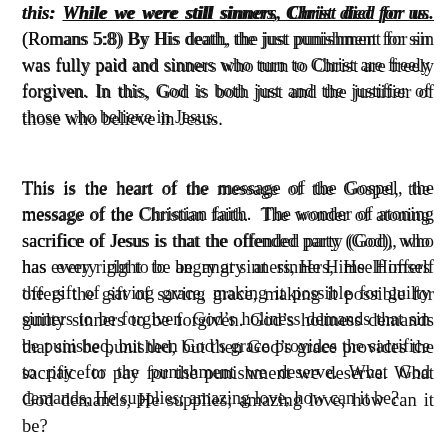this: While we were still sinners, Christ died for us. (Romans 5:8) By His death, the just punishment for sin was fully paid and sinners who turn to Christ are freely forgiven. In this, God is both just and the justifier of those who believe in Jesus.
This is the heart of the message of the Gospel, the message of the Christian faith. The wonder of atoning sacrifice of Jesus is that the offended party (God), who has every right to be angry at sinners, He Himself offers the gift of saving grace, making it possible for guilty sinners to be forgiven. God's holiness demands that sin be punished, but then God's grace provides the sacrifice to pay for the punishment we deserve. What God demands, He supplies; amazing love, how can it be?
Grace and wrath have met at the cross and the result is the free offer of salvation to everyone who believes. And apart from such grace, we would all face His wrath, His condemnation. But, because of the cross, there is now no condemnation for those who are in Christ Jesus. (Romans 8:1)
This is how God showed his love among us: He sent his one and